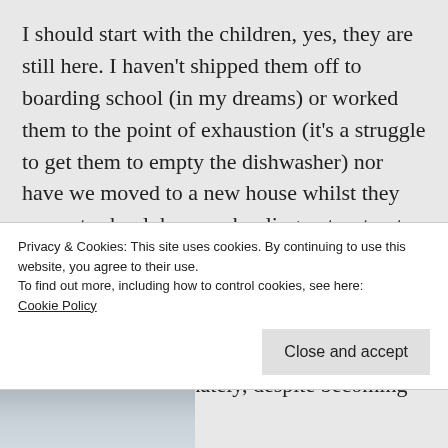I should start with the children, yes, they are still here. I haven't shipped them off to boarding school (in my dreams) or worked them to the point of exhaustion (it's a struggle to get them to empty the dishwasher) nor have we moved to a new house whilst they were at school, home schooling put a stop to that idea!

Truth be told they have just got taller, more independent, talkative, inquisitive and annoying 🙂 Fortunately, despite becoming
Privacy & Cookies: This site uses cookies. By continuing to use this website, you agree to their use.
To find out more, including how to control cookies, see here: Cookie Policy
Close and accept
[Figure (photo): Partial view of an outdoor photo, bottom-left corner, appears to show a sky or cloudy background]